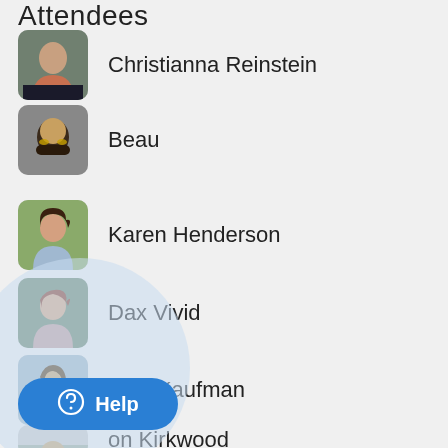Attendees
Christianna Reinstein
Beau
Karen Henderson
Dax Vivid
Alex Kaufman
on Kirkwood
[Figure (other): Help chat button overlay with circular blue background and 'Help' label]